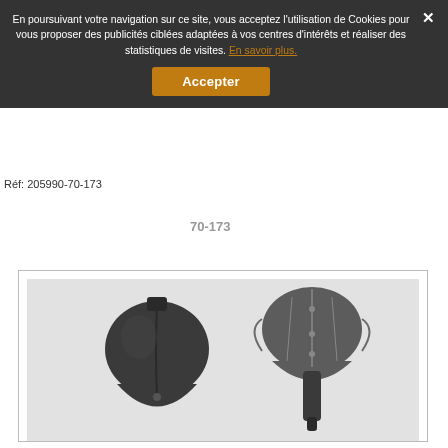En poursuivant votre navigation sur ce site, vous acceptez l'utilisation de Cookies pour vous proposer des publicités ciblées adaptées à vos centres d'intérêts et réaliser des statistiques de visites. En savoir plus.
Accepter
Réf: 205990-70-173
70-173
[Figure (photo): Two views of a dark plastic/metal shovel head: front view (left) showing spade blade shape, and side/back view (right) showing the mounting socket structure, photographed on a light grey background.]